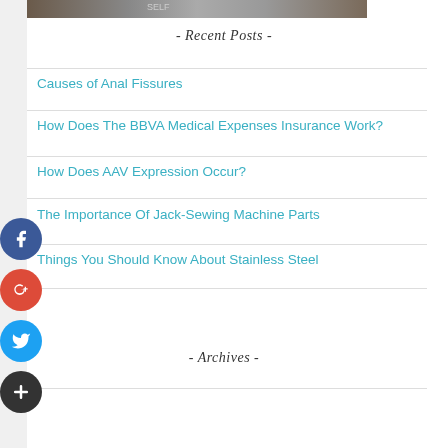[Figure (photo): Partial photo strip at top of sidebar]
- Recent Posts -
Causes of Anal Fissures
How Does The BBVA Medical Expenses Insurance Work?
How Does AAV Expression Occur?
The Importance Of Jack-Sewing Machine Parts
Things You Should Know About Stainless Steel
- Archives -